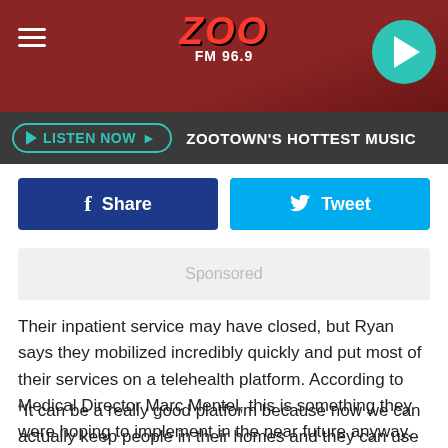ZOO FM 96.9
LISTEN NOW  ZOOTOWN'S HOTTEST MUSIC
[Figure (screenshot): Facebook Share button (dark blue) and Twitter Tweet button (light blue)]
Sponsored
Their inpatient service may have closed, but Ryan says they mobilized incredibly quickly and put most of their services on a telehealth platform. According to Medical Director Marc Mentel, this is something they were hoping to implement in the near future anyway.
“It can be a really good platform because now we can actually keep people in their homes and they can use their iPhones, their iPads, and their computers,” Mentel said. “We